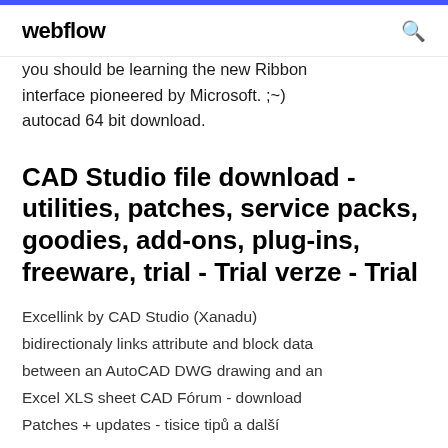webflow
you should be learning the new Ribbon interface pioneered by Microsoft. ;~) autocad 64 bit download.
CAD Studio file download - utilities, patches, service packs, goodies, add-ons, plug-ins, freeware, trial - Trial verze - Trial
Excellink by CAD Studio (Xanadu) bidirectionaly links attribute and block data between an AutoCAD DWG drawing and an Excel XLS sheet CAD Fórum - download Patches + updates - tisice tipů a další